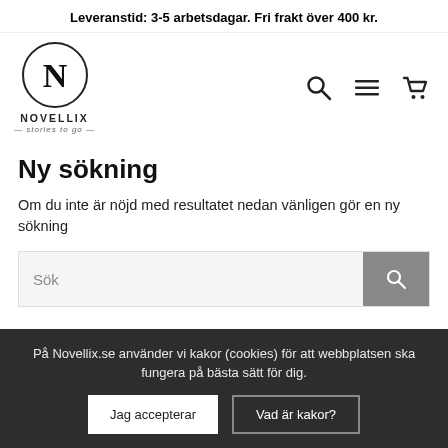Leveranstid: 3-5 arbetsdagar. Fri frakt över 400 kr.
[Figure (logo): Novellix logo with circle N and tagline 'stories to go']
[Figure (other): Navigation icons: search magnifier, hamburger menu, shopping cart]
Ny sökning
Om du inte är nöjd med resultatet nedan vänligen gör en ny sökning
[Figure (other): Search input field with placeholder 'Sök' and grey search button]
På Novellix.se använder vi kakor (cookies) för att webbplatsen ska fungera på bästa sätt för dig.
Jag accepterar
Vad är kakor?